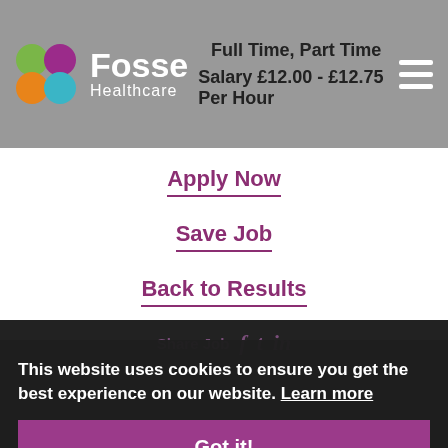Full Time, Part Time | Salary £12.00 - £12.75 Per Hour | Fosse Healthcare
Apply Now
Save Job
Back to Results
Share Job
This website uses cookies to ensure you get the best experience on our website. Learn more
Got it!
Do you want to make a positive difference to people's lives in your local community?
We are looking for ambitious and compassionate people who have a background in the care industry to join us as a Senior Care Worker.